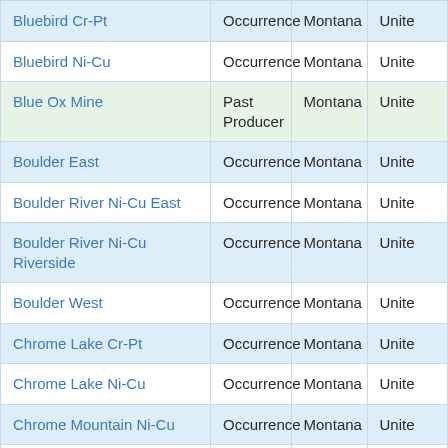| Name | Type | State | Country |
| --- | --- | --- | --- |
| Bluebird Cr-Pt | Occurrence | Montana | Unite... |
| Bluebird Ni-Cu | Occurrence | Montana | Unite... |
| Blue Ox Mine | Past Producer | Montana | Unite... |
| Boulder East | Occurrence | Montana | Unite... |
| Boulder River Ni-Cu East | Occurrence | Montana | Unite... |
| Boulder River Ni-Cu Riverside | Occurrence | Montana | Unite... |
| Boulder West | Occurrence | Montana | Unite... |
| Chrome Lake Cr-Pt | Occurrence | Montana | Unite... |
| Chrome Lake Ni-Cu | Occurrence | Montana | Unite... |
| Chrome Mountain Ni-Cu | Occurrence | Montana | Unite... |
| Coors 602 | Occurrence | Montana | Unite... |
| Copper King Mine | Producer | Montana | Unite... |
| Copper Queen | Occurrence | Montana | Unite... |
| Crescent Creek Cr-Pt | Occurrence | Montana | Unite... |